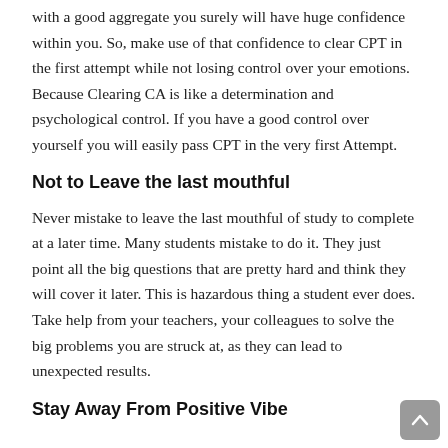with a good aggregate you surely will have huge confidence within you. So, make use of that confidence to clear CPT in the first attempt while not losing control over your emotions. Because Clearing CA is like a determination and psychological control. If you have a good control over yourself you will easily pass CPT in the very first Attempt.
Not to Leave the last mouthful
Never mistake to leave the last mouthful of study to complete at a later time. Many students mistake to do it. They just point all the big questions that are pretty hard and think they will cover it later. This is hazardous thing a student ever does. Take help from your teachers, your colleagues to solve the big problems you are struck at, as they can lead to unexpected results.
Stay Away From Positive Vibe